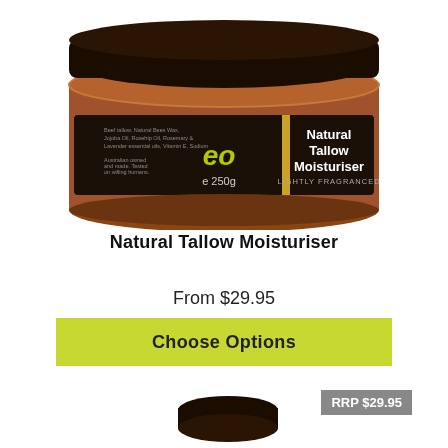[Figure (photo): A brown/amber jar with a black lid, labeled 'eo Natural Tallow Moisturiser LIGHTLY FRAGRANCED e250g']
Natural Tallow Moisturiser
From $29.95
Choose Options
RRP $29.95